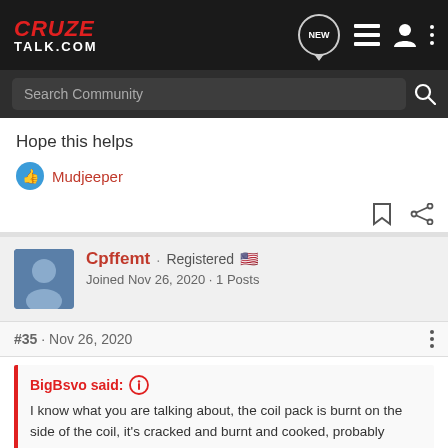CruzeTalk.com - navigation and search bar
Hope this helps
Mudjeeper
Cpffemt · Registered
Joined Nov 26, 2020 · 1 Posts
#35 · Nov 26, 2020
BigBsvo said:
I know what you are talking about, the coil pack is burnt on the side of the coil, it's cracked and burnt and cooked, probably smells like an electrical fire. These guys that are trying to help you by saying " I have never heard of a coil pack burning up, it's your spark plugs" or